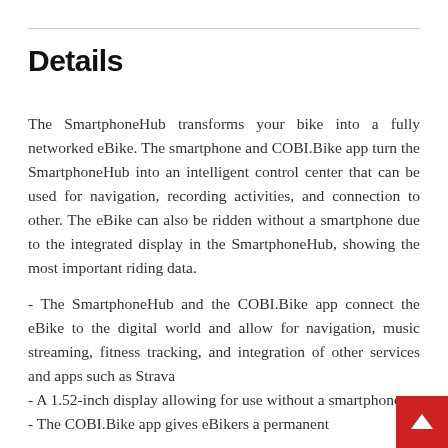Details
The SmartphoneHub transforms your bike into a fully networked eBike. The smartphone and COBI.Bike app turn the SmartphoneHub into an intelligent control center that can be used for navigation, recording activities, and connection to other. The eBike can also be ridden without a smartphone due to the integrated display in the SmartphoneHub, showing the most important riding data.
- The SmartphoneHub and the COBI.Bike app connect the eBike to the digital world and allow for navigation, music streaming, fitness tracking, and integration of other services and apps such as Strava
- A 1.52-inch display allowing for use without a smartphone
- The COBI.Bike app gives eBikers a permanent